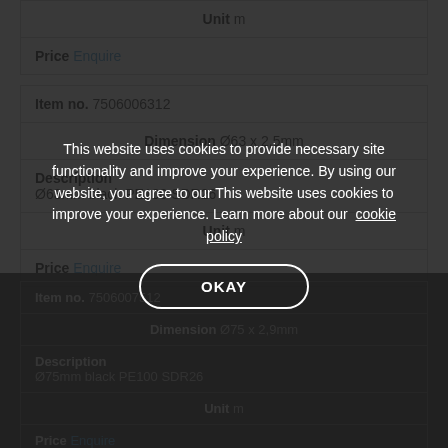| Unit m |
| Price Enquire |
| Item no. 7506006312 |
| Dimension Ø63 x 2,5mm |
| Description | Ø63mm black PE100 SDR26 |
| Unit m |
| Price Enquire |
| Item no. 7506007512 |
| Dimension Ø75 x 2,9mm |
| Description | Ø75mm black PE100 SDR26 |
| Unit m |
| Price Enquire |
This website uses cookies to provide necessary site functionality and improve your experience. By using our website, you agree to our This website uses cookies to improve your experience. Learn more about our cookie policy
OKAY